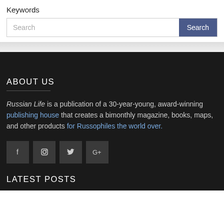Keywords
Search
ABOUT US
Russian Life is a publication of a 30-year-young, award-winning publishing house that creates a bimonthly magazine, books, maps, and other products for Russophiles the world over.
[Figure (infographic): Four social media icon buttons: Facebook (f), Instagram, Twitter (bird), Google+]
LATEST POSTS